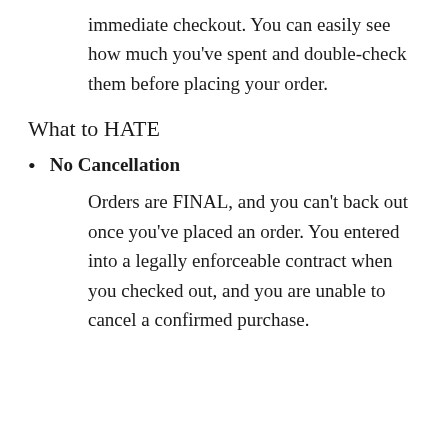immediate checkout. You can easily see how much you've spent and double-check them before placing your order.
What to HATE
No Cancellation
Orders are FINAL, and you can't back out once you've placed an order. You entered into a legally enforceable contract when you checked out, and you are unable to cancel a confirmed purchase.